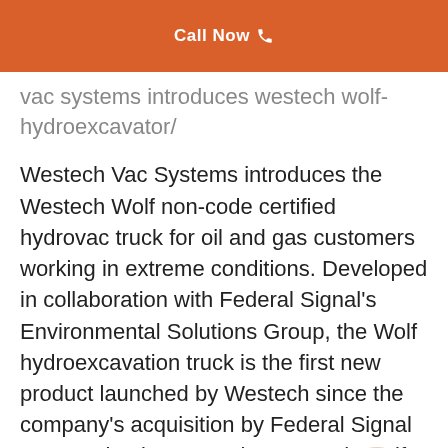Call Now
vac systems introduces westech wolf-hydroexcavator/
Westech Vac Systems introduces the Westech Wolf non-code certified hydrovac truck for oil and gas customers working in extreme conditions. Developed in collaboration with Federal Signal’s Environmental Solutions Group, the Wolf hydroexcavation truck is the first new product launched by Westech since the company’s acquisition by Federal Signal Corporation in 2016.“The Westech Wolf hydrovac represents the